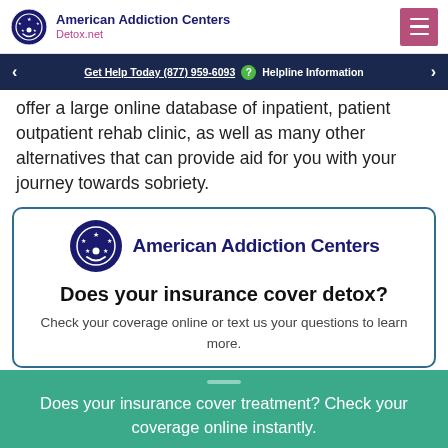American Addiction Centers Detox.net
Get Help Today (877) 959-6093 ? Helpline Information
offer a large online database of inpatient, patient outpatient rehab clinic, as well as many other alternatives that can provide aid for you with your journey towards sobriety.
[Figure (logo): American Addiction Centers logo with circular emblem and text]
Does your insurance cover detox?
Check your coverage online or text us your questions to learn more.
Does your insurance cover treatment? Check your coverage online instantly.